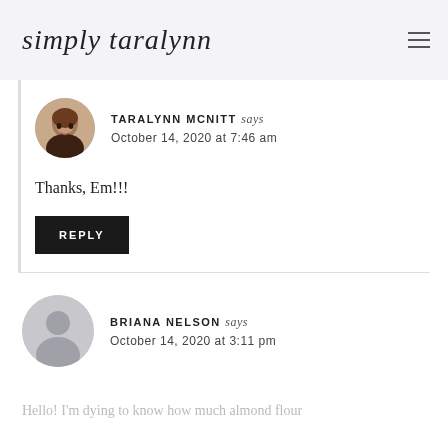simply taralynn
TARALYNN MCNITT says
October 14, 2020 at 7:46 am
Thanks, Em!!!
REPLY
BRIANA NELSON says
October 14, 2020 at 3:11 pm
Hello! I'm dying to know how much almond flour